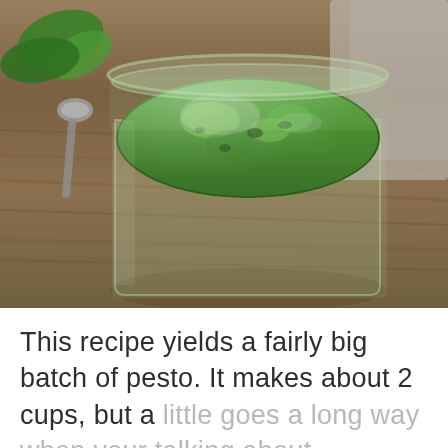[Figure (photo): Overhead view of a glass mason jar filled with bright green pesto sauce, on a wooden surface. A metal spoon and basil leaves are visible to the left of the jar. A gray cloth is visible at the top right.]
This recipe yields a fairly big batch of pesto.  It makes about 2 cups, but a little goes a long way when your talking about